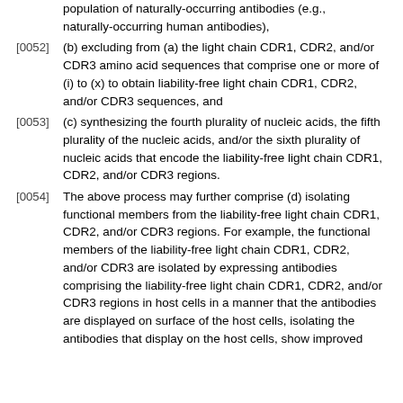population of naturally-occurring antibodies (e.g., naturally-occurring human antibodies),
[0052] (b) excluding from (a) the light chain CDR1, CDR2, and/or CDR3 amino acid sequences that comprise one or more of (i) to (x) to obtain liability-free light chain CDR1, CDR2, and/or CDR3 sequences, and
[0053] (c) synthesizing the fourth plurality of nucleic acids, the fifth plurality of the nucleic acids, and/or the sixth plurality of nucleic acids that encode the liability-free light chain CDR1, CDR2, and/or CDR3 regions.
[0054] The above process may further comprise (d) isolating functional members from the liability-free light chain CDR1, CDR2, and/or CDR3 regions. For example, the functional members of the liability-free light chain CDR1, CDR2, and/or CDR3 are isolated by expressing antibodies comprising the liability-free light chain CDR1, CDR2, and/or CDR3 regions in host cells in a manner that the antibodies are displayed on surface of the host cells, isolating the antibodies that display on the host cells, show improved